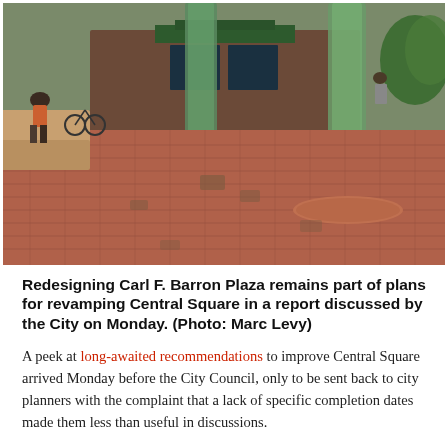[Figure (photo): Outdoor photo of Carl F. Barron Plaza showing brick paving, green glass cylindrical columns, people sitting and walking, with storefronts in the background.]
Redesigning Carl F. Barron Plaza remains part of plans for revamping Central Square in a report discussed by the City on Monday. (Photo: Marc Levy)
A peek at long-awaited recommendations to improve Central Square arrived Monday before the City Council, only to be sent back to city planners with the complaint that a lack of specific completion dates made them less than useful in discussions.
Many of the items in the 17-page rundown of issues